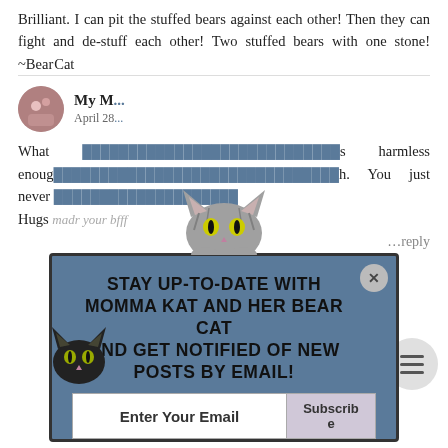Brilliant. I can pit the stuffed bears against each other! Then they can fight and de-stuff each other! Two stuffed bears with one stone! ~BearCat
My M
April 28...
What ... s harmless enough ... h. You just never ... Hugs madr your bfff
[Figure (screenshot): Email subscription popup with cat illustration. Header text: STAY UP-TO-DATE WITH MOMMA KAT AND HER BEAR CAT AND GET NOTIFIED OF NEW POSTS BY EMAIL! Input field: Enter Your Email. Button: Subscribe. Close X button in upper right.]
...eply
Momma Kat and Her Bear Cat
April ... 2017 at ...